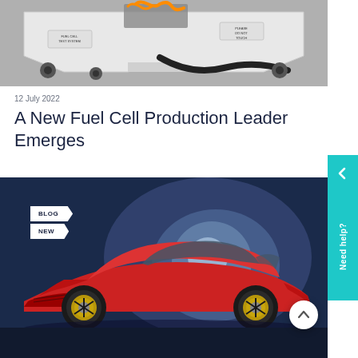[Figure (photo): Photo of a white fuel cell system test rig/trolley with orange wiring and tubing on a gray concrete floor]
12 July 2022
A New Fuel Cell Production Leader Emerges
[Figure (photo): Photo of a red Toyota Mirai hydrogen fuel cell car on a dark blue background with 'BLOG' and 'NEW' badge overlays]
Need help?